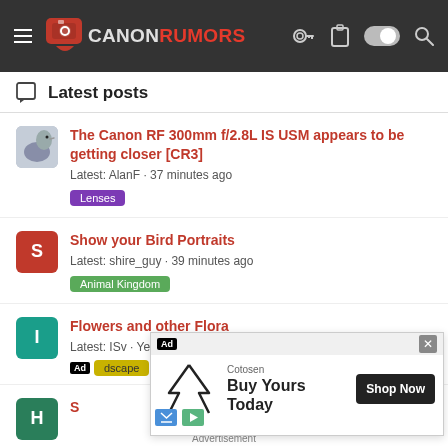[Figure (screenshot): Canon Rumors website header with logo, hamburger menu, and icons on dark background]
Latest posts
The Canon RF 300mm f/2.8L IS USM appears to be getting closer [CR3] — Latest: AlanF · 37 minutes ago — Tag: Lenses
Show your Bird Portraits — Latest: shire_guy · 39 minutes ago — Tag: Animal Kingdom
Flowers and other Flora — Latest: ISv · Yesterday at 11:16 PM — Tag: Landscape
[Figure (screenshot): Ad overlay: Cotosen — Buy Yours Today — Shop Now button]
Advertisement